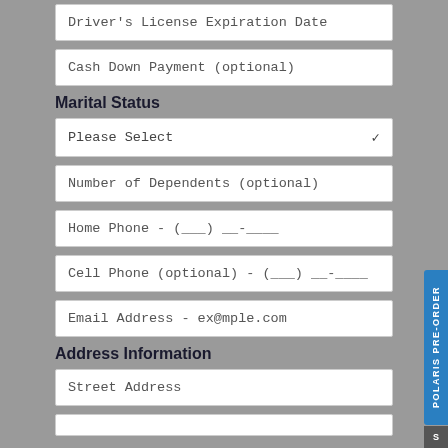Driver's License Expiration Date
Cash Down Payment (optional)
Marital Status
Please Select
Number of Dependents (optional)
Home Phone - (___) ___-____
Cell Phone (optional) - (___) ___-____
Email Address - ex@mple.com
Address Information
Street Address